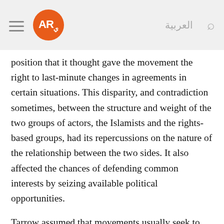AR [logo] العربية [search]
position that it thought gave the movement the right to last-minute changes in agreements in certain situations. This disparity, and contradiction sometimes, between the structure and weight of the two groups of actors, the Islamists and the rights-based groups, had its repercussions on the nature of the relationship between the two sides. It also affected the chances of defending common interests by seizing available political opportunities.
Tarrow assumed that movements usually seek to push their demands forward whenever an opportunity appears in the political arena.22  There are no clear ways to map such opportunities or to